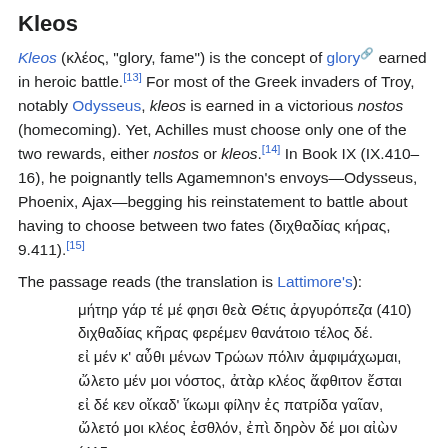Kleos
Kleos (κλέος, "glory, fame") is the concept of glory earned in heroic battle.[13] For most of the Greek invaders of Troy, notably Odysseus, kleos is earned in a victorious nostos (homecoming). Yet, Achilles must choose only one of the two rewards, either nostos or kleos.[14] In Book IX (IX.410–16), he poignantly tells Agamemnon's envoys—Odysseus, Phoenix, Ajax—begging his reinstatement to battle about having to choose between two fates (διχθαδίας κήρας, 9.411).[15]
The passage reads (the translation is Lattimore's):
μήτηρ γάρ τέ μέ φησι θεὰ Θέτις ἀργυρόπεζα (410)
διχθαδίας κῆρας φερέμεν θανάτοιο τέλος δέ.
εἰ μέν κ' αὖθι μένων Τρώων πόλιν ἀμφιμάχωμαι,
ὤλετο μέν μοι νόστος, ἀτὰρ κλέος ἄφθιτον ἔσται
εἰ δέ κεν οἴκαδ' ἵκωμι φίλην ἐς πατρίδα γαῖαν,
ὤλετό μοι κλέος ἐσθλόν, ἐπὶ δηρὸν δέ μοι αἰὼν (415
ἔσσεται, οὐδέ κέ μ' ὦκα τέλος θανάτοιο κιχείη.[16]
In forgoing his nostos, he will earn the greater reward of kleos aphthiton (κλέος ἄφθιτον, "fame imperishable").[15] In the poem, aphthiton (ἄφθιτον, "imperishable") occurs five other times,[18] each